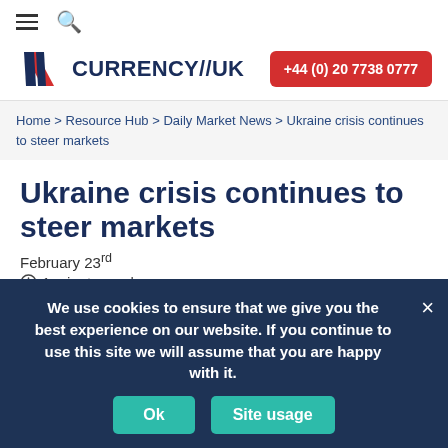≡ 🔍
[Figure (logo): Currency//UK logo with red/blue flag icon and company name, plus phone number button +44 (0) 20 7738 0777]
Home > Resource Hub > Daily Market News > Ukraine crisis continues to steer markets
Ukraine crisis continues to steer markets
February 23rd
🕐 1 minute read
We use cookies to ensure that we give you the best experience on our website. If you continue to use this site we will assume that you are happy with it.